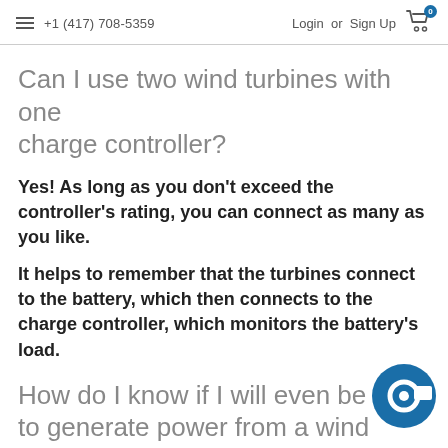+1 (417) 708-5359   Login or Sign Up
Can I use two wind turbines with one charge controller?
Yes! As long as you don’t exceed the controller’s rating, you can connect as many as you like.
It helps to remember that the turbines connect to the battery, which then connects to the charge controller, which monitors the battery’s load.
How do I know if I will even be able to generate power from a wind turbine where I live?